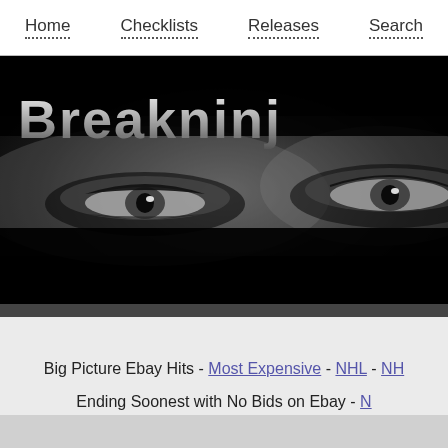Home  Checklists  Releases  Search
[Figure (photo): Website banner with dark background showing a close-up of eyes and the text 'Breakninjo' in metallic silver font]
Big Picture Ebay Hits - Most Expensive - NHL - NH...
Ending Soonest with No Bids on Ebay - N...